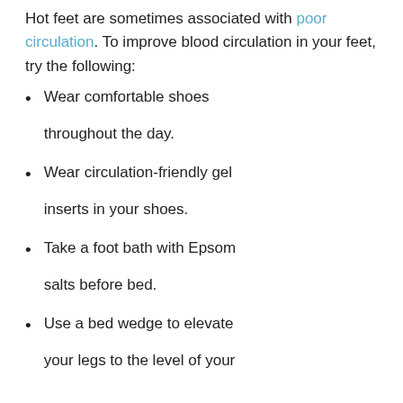Hot feet are sometimes associated with poor circulation. To improve blood circulation in your feet, try the following:
Wear comfortable shoes throughout the day.
Wear circulation-friendly gel inserts in your shoes.
Take a foot bath with Epsom salts before bed.
Use a bed wedge to elevate your legs to the level of your